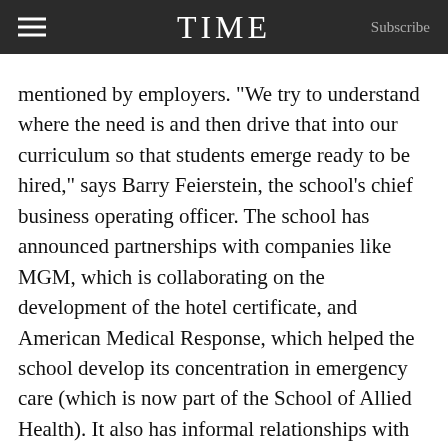TIME  Subscribe
mentioned by employers. “We try to understand where the need is and then drive that into our curriculum so that students emerge ready to be hired,” says Barry Feierstein, the school’s chief business operating officer. The school has announced partnerships with companies like MGM, which is collaborating on the development of the hotel certificate, and American Medical Response, which helped the school develop its concentration in emergency care (which is now part of the School of Allied Health). It also has informal relationships with companies like Walmart, which is not involved in curriculum development but does work with the school to meet its talent needs in retail management. “That’s a win-win for everyone,” Feierstein said. “Walmart gets a good hire, and we get to help our students secure jobs while they are still in school.”
So the answer to whether an online degree can help you get a job